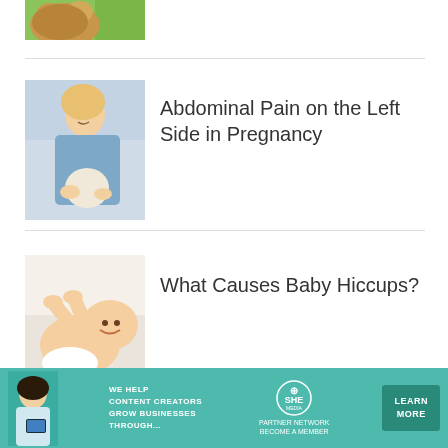[Figure (photo): Partial top image of a teddy bear or stuffed animal on green background]
[Figure (photo): Pregnant woman holding her abdomen in pain, wearing a light blue jacket]
Abdominal Pain on the Left Side in Pregnancy
[Figure (photo): Baby lying on back being tickled or played with, laughing]
What Causes Baby Hiccups?
[Figure (infographic): SHE Media Partner Network advertisement banner: WE HELP CONTENT CREATORS GROW BUSINESSES THROUGH... with LEARN MORE button]